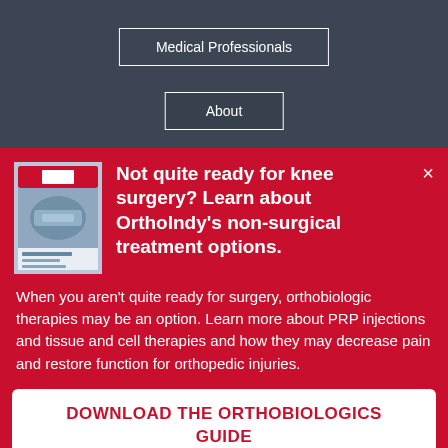Medical Professionals
About
[Figure (photo): Cover of OrthoIndy orthobiologics guide booklet showing medical/lab imagery]
Not quite ready for knee surgery? Learn about OrthoIndy’s non-surgical treatment options.
When you aren’t quite ready for surgery, orthobiologic therapies may be an option. Learn more about PRP injections and tissue and cell therapies and how they may decrease pain and restore function for orthopedic injuries.
DOWNLOAD THE ORTHOBIOLOGICS GUIDE